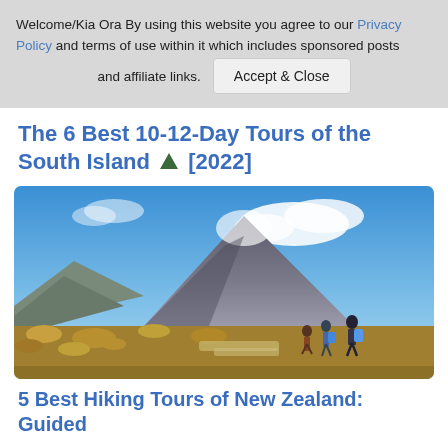Welcome/Kia Ora By using this website you agree to our Privacy Policy and terms of use within it which includes sponsored posts and affiliate links. [Accept & Close button]
The 6 Best 10-12-Day Tours of the South Island 🏔 [2022]
[Figure (photo): Group of hikers on a trail with a large volcanic mountain (likely Mount Tongariro or Ngauruhoe) in the background under a partly cloudy blue sky, New Zealand landscape with tussock grasslands.]
5 Best Hiking Tours of New Zealand: Guided